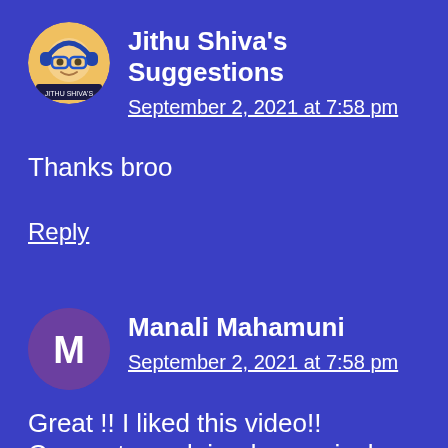[Figure (photo): Circular avatar of Jithu Shiva's Suggestions - cartoon boy with headphones]
Jithu Shiva's Suggestions
September 2, 2021 at 7:58 pm
Thanks broo
Reply
[Figure (photo): Circular purple avatar with letter M for Manali Mahamuni]
Manali Mahamuni
September 2, 2021 at 7:58 pm
Great !! I liked this video!! Concepts explained very nicely